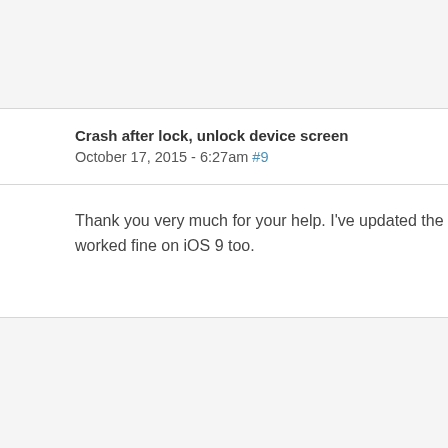Crash after lock, unlock device screen
October 17, 2015 - 6:27am #9
Thank you very much for your help. I've updated the worked fine on iOS 9 too.